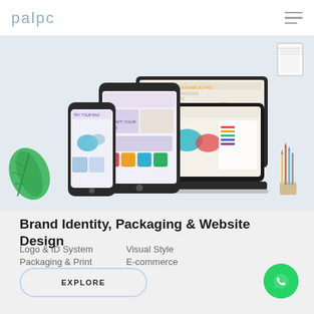palpc
[Figure (screenshot): Hero section showing multiple device mockups (desktop monitor, laptop, tablet, smartphone) displaying e-commerce and product design websites with earbuds/audio product imagery, on a light grey background. A green plant leaf is visible on the left, pencils/brushes in a cup on the right, and a notebook top right corner.]
Brand Identity, Packaging & Website Design
Logo & ID System
Visual Style
Packaging & Print
E-commerce
EXPLORE